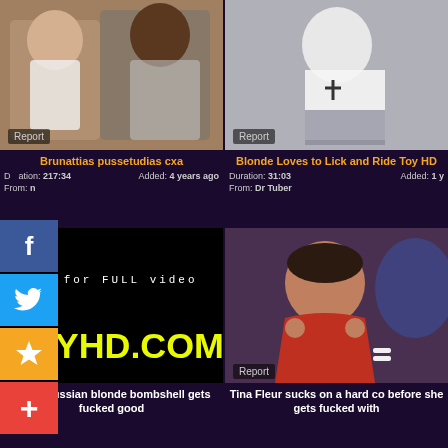[Figure (screenshot): Video thumbnail showing two people, with Report badge]
Brunattias pussetudias cxa
Duration: 217:34  Added: 4 years ago  From: n
[Figure (screenshot): Video thumbnail showing woman in white top, with Report badge]
Blonde Loves to Lick and Ride Toy HD
Duration: 31:03  Added: 1 year ago  From: Dr Tuber
[Figure (screenshot): Black video thumbnail with OGYHD.COM text overlay and visit for FULL video text]
Naked russian blonde bombshell gets fucked good
[Figure (screenshot): Video thumbnail showing woman in red top smiling, with Report badge]
Tina Fleur sucks on a hard co before she gets fucked with